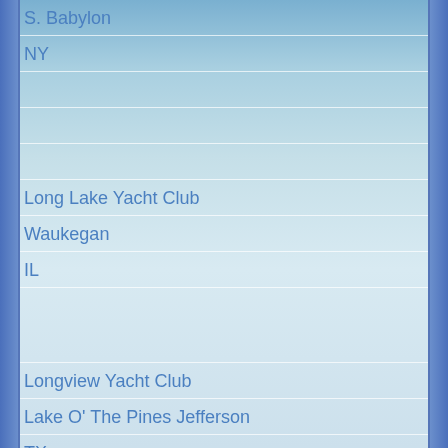S. Babylon
NY
Long Lake Yacht Club
Waukegan
IL
Longview Yacht Club
Lake O' The Pines Jefferson
TX